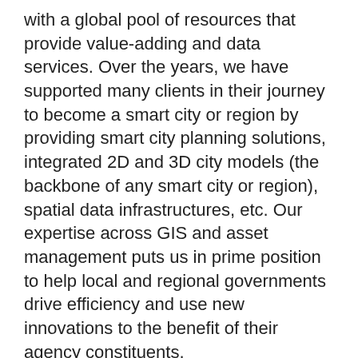with a global pool of resources that provide value-adding and data services. Over the years, we have supported many clients in their journey to become a smart city or region by providing smart city planning solutions, integrated 2D and 3D city models (the backbone of any smart city or region), spatial data infrastructures, etc. Our expertise across GIS and asset management puts us in prime position to help local and regional governments drive efficiency and use new innovations to the benefit of their agency constituents.
Avineon has delivered focused solutions to our clients in regional and local government for many years. Our solutions engage location intelligence data as well as related technologies and services to drive value and efficiency across your service region. We focus on providing total end-to-end solutions for our